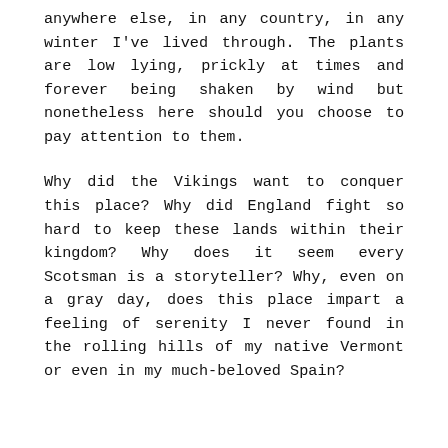anywhere else, in any country, in any winter I've lived through. The plants are low lying, prickly at times and forever being shaken by wind but nonetheless here should you choose to pay attention to them.
Why did the Vikings want to conquer this place? Why did England fight so hard to keep these lands within their kingdom? Why does it seem every Scotsman is a storyteller? Why, even on a gray day, does this place impart a feeling of serenity I never found in the rolling hills of my native Vermont or even in my much-beloved Spain?